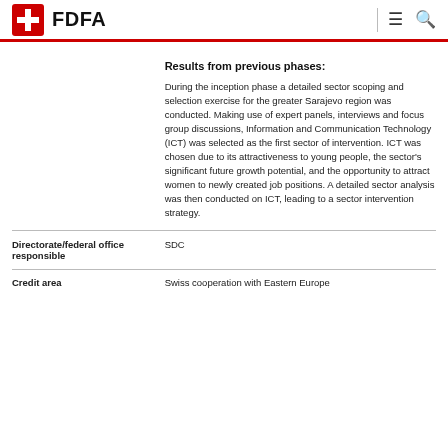FDFA
Results from previous phases:
During the inception phase a detailed sector scoping and selection exercise for the greater Sarajevo region was conducted. Making use of expert panels, interviews and focus group discussions, Information and Communication Technology (ICT) was selected as the first sector of intervention. ICT was chosen due to its attractiveness to young people, the sector's significant future growth potential, and the opportunity to attract women to newly created job positions. A detailed sector analysis was then conducted on ICT, leading to a sector intervention strategy.
|  |  |
| --- | --- |
| Directorate/federal office responsible | SDC |
| Credit area | Swiss cooperation with Eastern Europe |